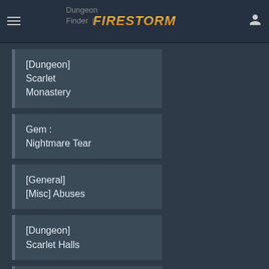Dungeon Finder | FIRESTORM
[Dungeon] Scarlet Monastery
Gem : Nightmare Tear
[General] [Misc] Abuses
[Dungeon] Scarlet Halls
[SoO] : Dark shamans reset system